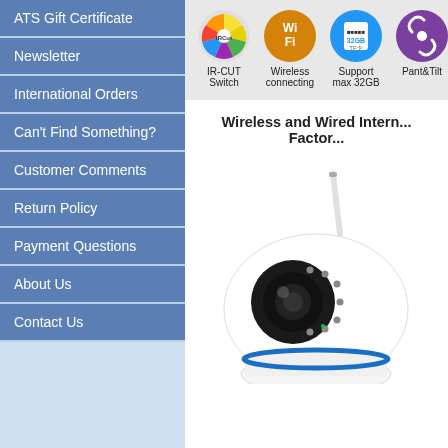ATS Gift Certificate
Newsletter
International Orders
Can't Find Something?
Customer Comments
Return Policy
Payment Questions
About Us
Contact Us
[Figure (infographic): Four circular feature icons: IR-CUT Switch (colorful pinwheel circle), Wireless connecting (Wi-Fi orange circle), Support max 32GB (SD card blue circle), Pant&Tilt (purple circle with rotation arrows)]
Wireless and Wired Intern... Factor...
[Figure (photo): White wireless IP security camera with antenna, black lens, IR LEDs, and blue accent ring at base, shown on white background.]